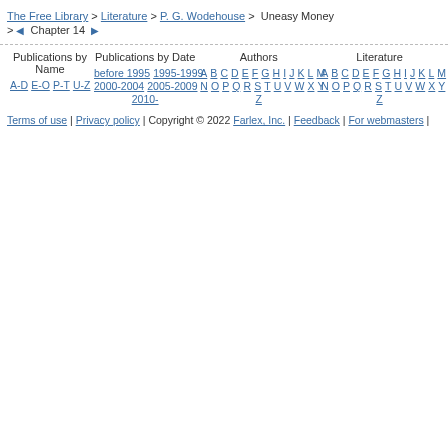The Free Library > Literature > P. G. Wodehouse > Uneasy Money > Chapter 14
Publications by Name | Publications by Date | Authors | Literature
A-D E-O P-T U-Z | before 1995 1995-1999 2000-2004 2005-2009 2010- | A B C D E F G H I J K L M N O P Q R S T U V W X Y Z | A B C D E F G H I J K L M N O P Q R S T U V W X Y Z
Terms of use | Privacy policy | Copyright © 2022 Farlex, Inc. | Feedback | For webmasters |